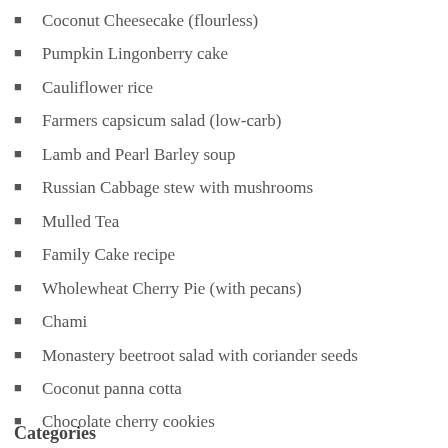Coconut Cheesecake (flourless)
Pumpkin Lingonberry cake
Cauliflower rice
Farmers capsicum salad (low-carb)
Lamb and Pearl Barley soup
Russian Cabbage stew with mushrooms
Mulled Tea
Family Cake recipe
Wholewheat Cherry Pie (with pecans)
Chami
Monastery beetroot salad with coriander seeds
Coconut panna cotta
Chocolate cherry cookies
Red pepper Dip
Categories